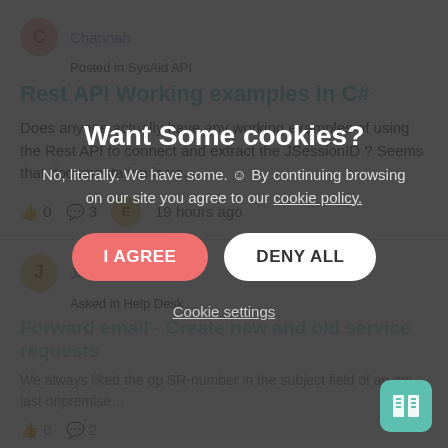Channah
Posted in SysAid API
Rest API Working examples in C#
Does anyone actually have any working examples of using the Rest API to connect and extract the JSessionID ? Seems that documentation is ve…
0   3   19 hours ago
JSH
Asked in Help Desk
Forward email - Create new and old service requests
We always liked the op SR-number in the subject field of an em last onpremise…
0   2
Want Some cookies?
No, literally. We have some. ☺ By continuing browsing on our site you agree to our cookie policy.
I AGREE
DENY ALL
Cookie settings